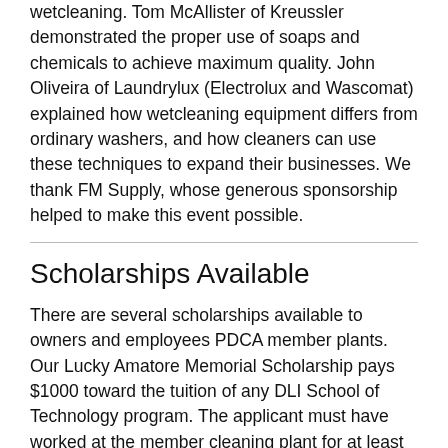wetcleaning. Tom McAllister of Kreussler demonstrated the proper use of soaps and chemicals to achieve maximum quality. John Oliveira of Laundrylux (Electrolux and Wascomat) explained how wetcleaning equipment differs from ordinary washers, and how cleaners can use these techniques to expand their businesses. We thank FM Supply, whose generous sponsorship helped to make this event possible.
Scholarships Available
There are several scholarships available to owners and employees PDCA member plants. Our Lucky Amatore Memorial Scholarship pays $1000 toward the tuition of any DLI School of Technology program. The applicant must have worked at the member cleaning plant for at least six months. To apply, contact PDCA.
There are nine scholarships available each year from